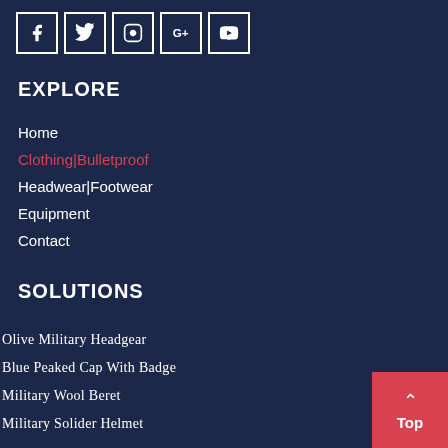[Figure (other): Row of 5 social media icon buttons (Facebook, Twitter, Instagram, Google+, YouTube) in white bordered squares on dark navy background]
EXPLORE
Home
Clothing|Bulletproof
Headwear|Footwear
Equipment
Contact
SOLUTIONS
Olive Military Headgear
Blue Peaked Cap With Badge
Military Wool Beret
Military Solider Helmet